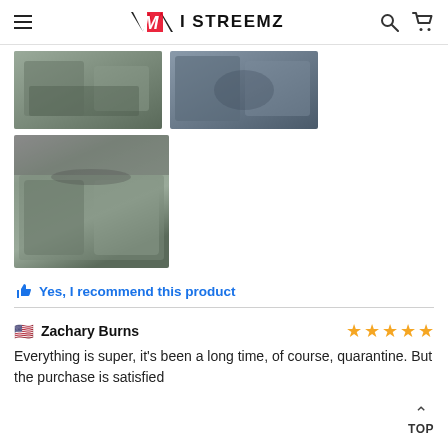iSTREEMZ
[Figure (photo): Car seat cover photo 1 - top left thumbnail]
[Figure (photo): Car seat cover photo 2 - top right thumbnail]
[Figure (photo): Car seat cover photo 3 - large bottom left]
Yes, I recommend this product
Zachary Burns
Everything is super, it's been a long time, of course, quarantine. But the purchase is satisfied